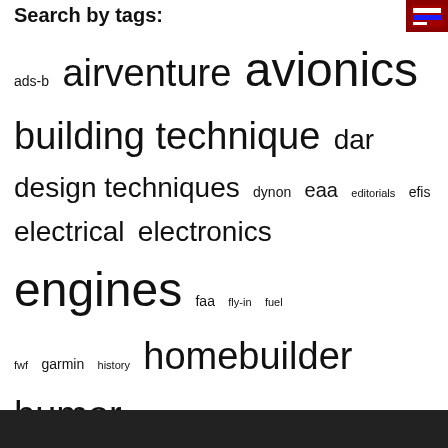Search by tags:
ads-b airventure avionics building technique dar design techniques dynon eaa editorials efis electrical electronics engines faa fly-in fuel fwf garmin history homebuilder humor instruments kit building kitplanes lsa lycoming maintenance ownership pilot events products propellers racing rans regulations reno replica safety shop tip sonex subsonex sun 'n fun tools van's video zenith